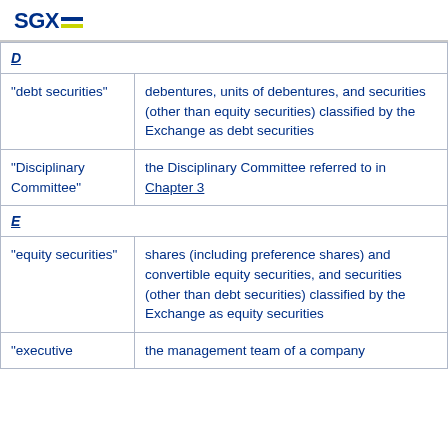SGX
| D |  |
| "debt securities" | debentures, units of debentures, and securities (other than equity securities) classified by the Exchange as debt securities |
| "Disciplinary Committee" | the Disciplinary Committee referred to in Chapter 3 |
| E |  |
| "equity securities" | shares (including preference shares) and convertible equity securities, and securities (other than debt securities) classified by the Exchange as equity securities |
| "executive | the management team of a company |